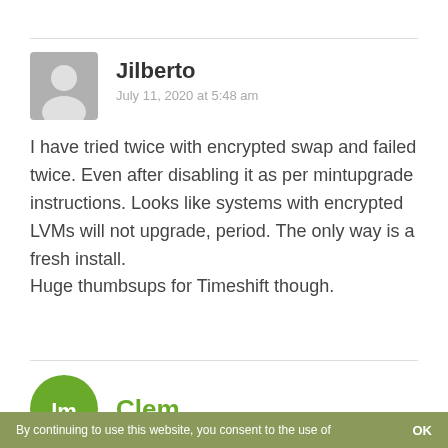[Figure (illustration): Gray user avatar icon (silhouette of a person) with author name 'Jilberto' and date 'July 11, 2020 at 5:48 am']
I have tried twice with encrypted swap and failed twice. Even after disabling it as per mintupgrade instructions. Looks like systems with encrypted LVMs will not upgrade, period. The only way is a fresh install. Huge thumbsups for Timeshift though.
[Figure (logo): Linux Mint circular logo (green circle with 'lm' letters) with author name 'Clem' in green]
By continuing to use this website, you consent to the use of    OK